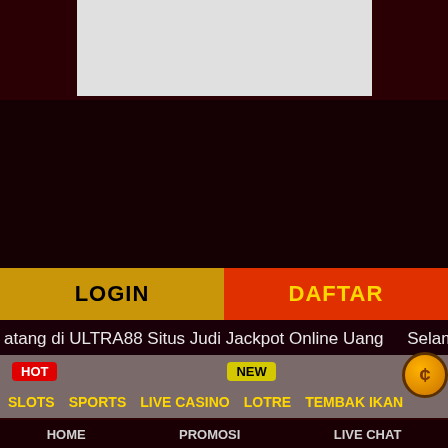[Figure (screenshot): Top banner area with light grey image placeholder on dark maroon background]
LOGIN
DAFTAR
atang di ULTRA88 Situs Judi Jackpot Online Uang Selamat d
HOT
NEW
SLOTS
SPORTS
LIVE CASINO
LOTRE
TEMBAK IKAN
HOME
PROMOSI
LIVE CHAT